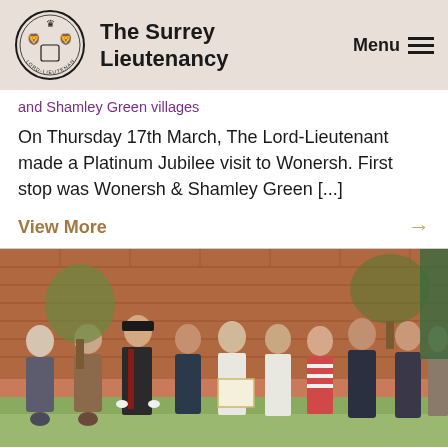The Surrey Lieutenancy | Menu
and Shamley Green villages
On Thursday 17th March, The Lord-Lieutenant made a Platinum Jubilee visit to Wonersh. First stop was Wonersh & Shamley Green [...]
View More →
[Figure (photo): Group of approximately 10 people standing outdoors in front of a red brick wall. One person in the centre is wearing a military uniform with a red stripe and white gloves. Another person is holding a framed certificate. The group includes men and women of various ages, dressed in casual and smart-casual clothing. Trees are visible in the background.]